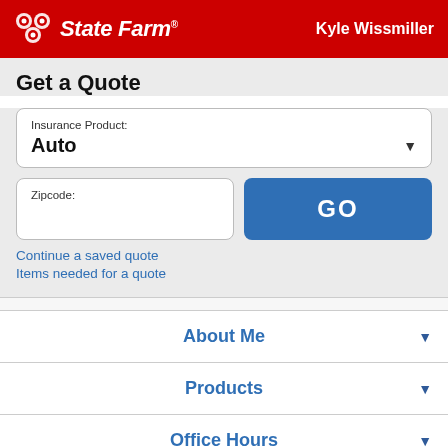State Farm — Kyle Wissmiller
Get a Quote
Insurance Product: Auto
Zipcode:
GO
Continue a saved quote
Items needed for a quote
About Me
Products
Office Hours
Location & Phone